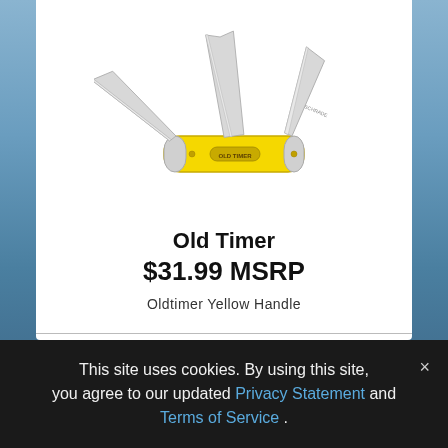[Figure (photo): Old Timer pocket knife with yellow handle and three open blades on a white background]
Old Timer
$31.99 MSRP
Oldtimer Yellow Handle
This site uses cookies. By using this site, you agree to our updated Privacy Statement and Terms of Service .